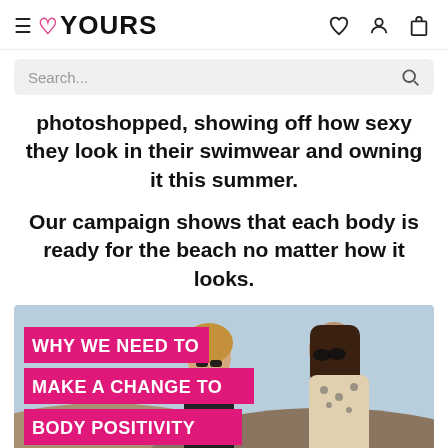≡ ♡YOURS
Search...
photoshopped, showing off how sexy they look in their swimwear and owning it this summer.
Our campaign shows that each body is ready for the beach no matter how it looks.
[Figure (photo): Two plus-size women wearing swimwear and sunglasses outdoors, with pink banner text overlay reading: WHY WE NEED TO MAKE A CHANGE TO BODY POSITIVITY]